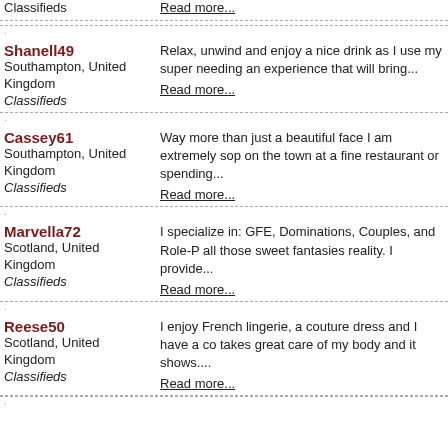Classifieds — (top partial entry, username cut off)
Shanell49
Southampton, United Kingdom
Classifieds
Relax, unwind and enjoy a nice drink as I use my super needing an experience that will bring...
Read more...
Cassey61
Southampton, United Kingdom
Classifieds
Way more than just a beautiful face I am extremely sop on the town at a fine restaurant or spending...
Read more...
Marvella72
Scotland, United Kingdom
Classifieds
I specialize in: GFE, Dominations, Couples, and Role-P all those sweet fantasies reality. I provide...
Read more...
Reese50
Scotland, United Kingdom
Classifieds
I enjoy French lingerie, a couture dress and I have a co takes great care of my body and it shows....
Read more...